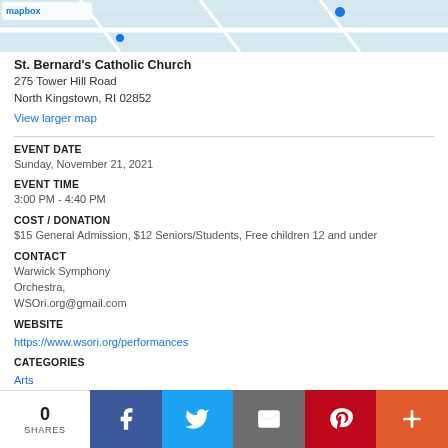[Figure (map): Partial map screenshot showing street map with Mapbox/MapQuest branding]
St. Bernard's Catholic Church
275 Tower Hill Road
North Kingstown, RI 02852
View larger map
EVENT DATE
Sunday, November 21, 2021
EVENT TIME
3:00 PM - 4:40 PM
COST / DONATION
$15 General Admission, $12 Seniors/Students, Free children 12 and under
CONTACT
Warwick Symphony Orchestra,
WSOri.org@gmail.com
WEBSITE
https://www.wsori.org/performances
CATEGORIES
Arts
Comments
0 SHARES